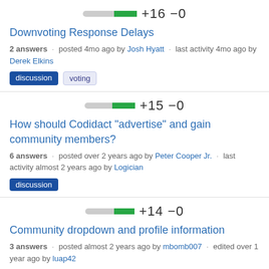[Figure (infographic): Vote bar showing +16 -0 with grey and green progress bar]
Downvoting Response Delays
2 answers · posted 4mo ago by Josh Hyatt · last activity 4mo ago by Derek Elkins
discussion
voting
[Figure (infographic): Vote bar showing +15 -0 with grey and green progress bar]
How should Codidact "advertise" and gain community members?
6 answers · posted over 2 years ago by Peter Cooper Jr. · last activity almost 2 years ago by Logician
discussion
[Figure (infographic): Vote bar showing +14 -0 with grey and green progress bar]
Community dropdown and profile information
3 answers · posted almost 2 years ago by mbomb007 · edited over 1 year ago by luap42